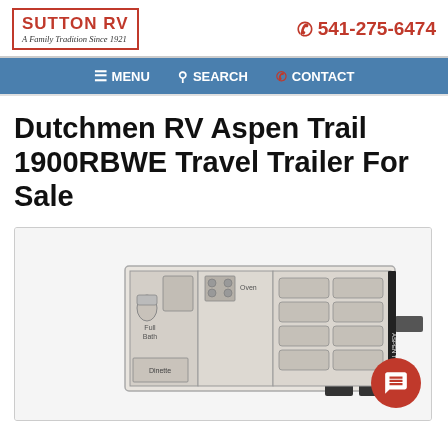[Figure (logo): Sutton RV logo in red border box with text 'A Family Tradition Since 1921']
541-275-6474
MENU   SEARCH   CONTACT
Dutchmen RV Aspen Trail 1900RBWE Travel Trailer For Sale
[Figure (schematic): Floor plan schematic of the 1900RBWE travel trailer showing layout with bathroom, dinette, and sleeping areas]